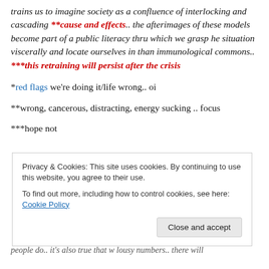trains us to imagine society as a confluence of interlocking and cascading **cause and effects.. the afterimages of these models become part of a public literacy thru which we grasp he situation viscerally and locate ourselves in than immunological commons.. ***this retraining will persist after the crisis
*red flags we're doing it/life wrong.. oi
**wrong, cancerous, distracting, energy sucking .. focus
***hope not
Privacy & Cookies: This site uses cookies. By continuing to use this website, you agree to their use. To find out more, including how to control cookies, see here: Cookie Policy
people do.. it's also true that w lousy numbers.. there will